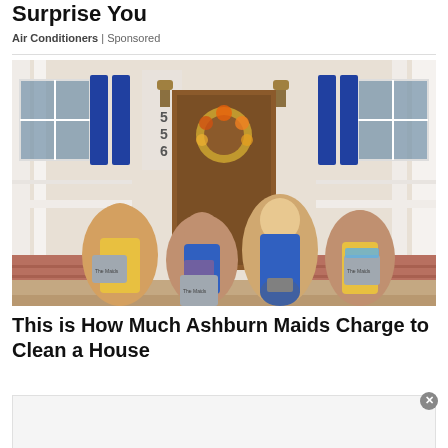Surprise You
Air Conditioners | Sponsored
[Figure (photo): Four female cleaning service workers in blue and yellow uniforms standing on a house porch holding cleaning supply buckets labeled 'The Maids']
This is How Much Ashburn Maids Charge to Clean a House